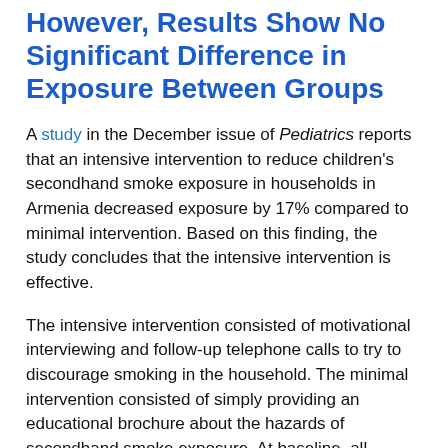However, Results Show No Significant Difference in Exposure Between Groups
A study in the December issue of Pediatrics reports that an intensive intervention to reduce children's secondhand smoke exposure in households in Armenia decreased exposure by 17% compared to minimal intervention. Based on this finding, the study concludes that the intensive intervention is effective.
The intensive intervention consisted of motivational interviewing and follow-up telephone calls to try to discourage smoking in the household. The minimal intervention consisted of simply providing an educational brochure about the hazards of secondhand smoke exposure. At baseline, all households contained at least one daily smoker and at least one child between the ages of 2 and 6. Child exposure to secondhand smoke was measured by determining hair nicotine concentrations at baseline and at four month follow-up.